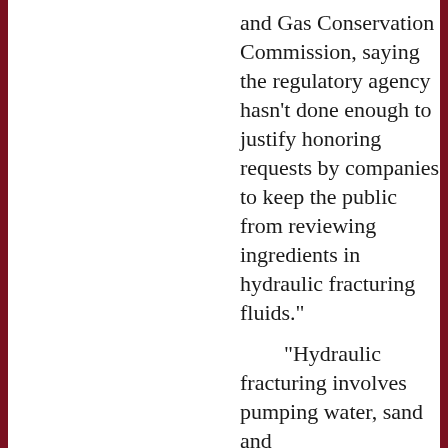and Gas Conservation Commission, saying the regulatory agency hasn't done enough to justify honoring requests by companies to keep the public from reviewing ingredients in hydraulic fracturing fluids." "Hydraulic fracturing involves pumping water, sand and